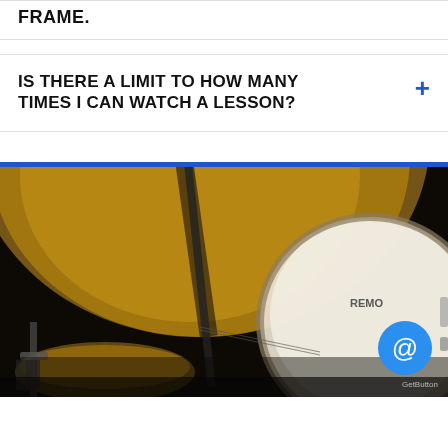FRAME.
IS THERE A LIMIT TO HOW MANY TIMES I CAN WATCH A LESSON?
[Figure (photo): Close-up photo of drum cymbals and a snare drum head (Remo brand) in a dark, moody setting. A GetButton contact button widget is visible in the bottom right corner.]